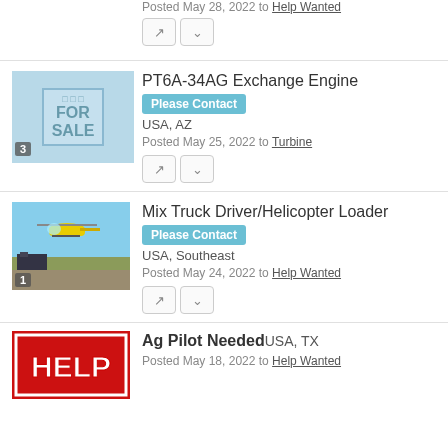Posted May 28, 2022 to Help Wanted
[Figure (photo): Partial top listing with action buttons]
PT6A-34AG Exchange Engine
Please Contact
USA, AZ
Posted May 25, 2022 to Turbine
[Figure (illustration): For Sale sign on light blue background, labeled 3]
Mix Truck Driver/Helicopter Loader
Please Contact
USA, Southeast
Posted May 24, 2022 to Help Wanted
[Figure (photo): Helicopter in flight over field, labeled 1]
Ag Pilot Needed USA, TX
Posted May 18, 2022 to Help Wanted
[Figure (photo): HELP text in red and white, partial view]